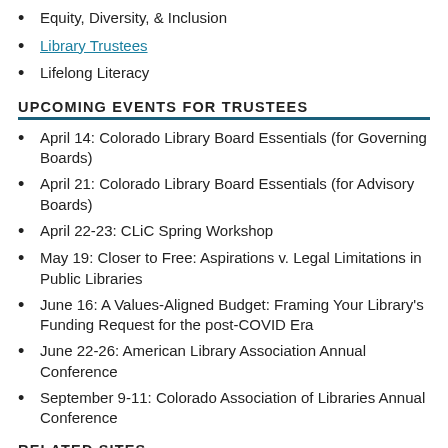Equity, Diversity, & Inclusion
Library Trustees
Lifelong Literacy
UPCOMING EVENTS FOR TRUSTEES
April 14: Colorado Library Board Essentials (for Governing Boards)
April 21: Colorado Library Board Essentials (for Advisory Boards)
April 22-23: CLiC Spring Workshop
May 19: Closer to Free: Aspirations v. Legal Limitations in Public Libraries
June 16: A Values-Aligned Budget: Framing Your Library's Funding Request for the post-COVID Era
June 22-26: American Library Association Annual Conference
September 9-11: Colorado Association of Libraries Annual Conference
RELATED SITES